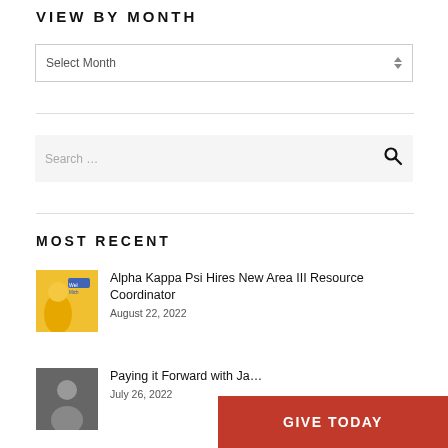VIEW BY MONTH
Select Month
Search ...
MOST RECENT
[Figure (photo): Thumbnail image with yellow background and Alpha Kappa Psi branding]
Alpha Kappa Psi Hires New Area III Resource Coordinator
August 22, 2022
[Figure (photo): Black and white headshot photo thumbnail]
Paying it Forward with Ja...
July 26, 2022
GIVE TODAY